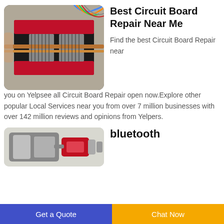[Figure (photo): Top-down view of a red circuit board repair machine/tool with wiring and copper tubing, against a workbench background with colorful wires]
Best Circuit Board Repair Near Me
Find the best Circuit Board Repair near you on Yelpsee all Circuit Board Repair open now.Explore other popular Local Services near you from over 7 million businesses with over 142 million reviews and opinions from Yelpers.
[Figure (photo): Partial view of a red and silver industrial/mechanical device or machine]
bluetooth
Get a Quote
Chat Now